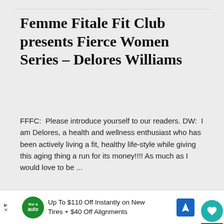Femme Fitale Fit Club presents Fierce Women Series – Delores Williams
FFFC:  Please introduce yourself to our readers. DW:  I am Delores, a health and wellness enthusiast who has been actively living a fit, healthy life-style while giving this aging thing a run for its money!!!! As much as I would love to be ...
» READ MORE
NOVEMBER 8, 201…
Femme Fitale Fit Cl…
Up To $110 Off Instantly on New Tires + $40 Off Alignments